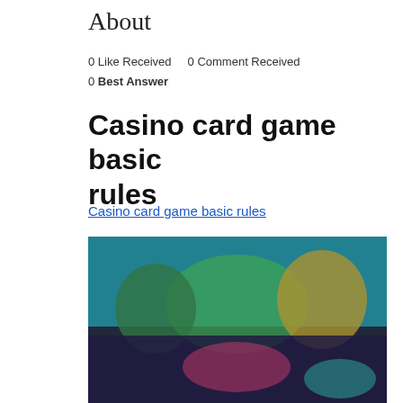About
0 Like Received    0 Comment Received
0 Best Answer
Casino card game basic rules
Casino card game basic rules
[Figure (photo): Blurred screenshot of a casino card game interface showing colorful game elements and characters on a dark background]